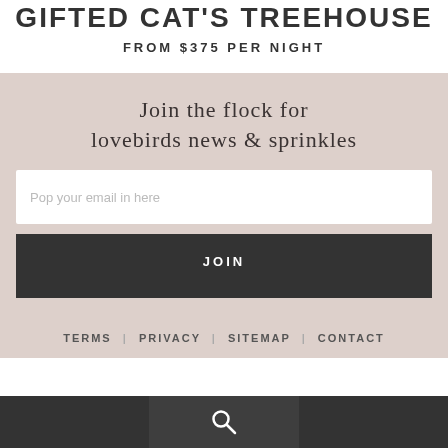FROM $375 PER NIGHT
Join the flock for lovebirds news & sprinkles
Pop your email in here
JOIN
TERMS | PRIVACY | SITEMAP | CONTACT